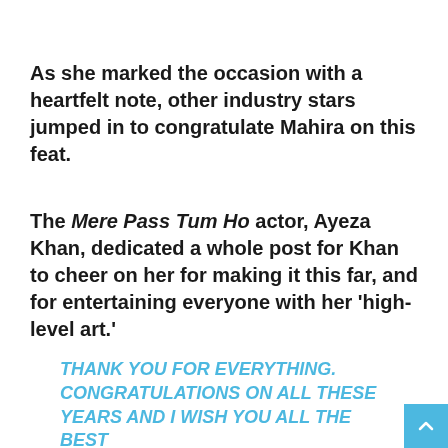As she marked the occasion with a heartfelt note, other industry stars jumped in to congratulate Mahira on this feat.
The Mere Pass Tum Ho actor, Ayeza Khan, dedicated a whole post for Khan to cheer on her for making it this far, and for entertaining everyone with her 'high-level art.'
THANK YOU FOR EVERYTHING. CONGRATULATIONS ON ALL THESE YEARS AND I WISH YOU ALL THE BEST